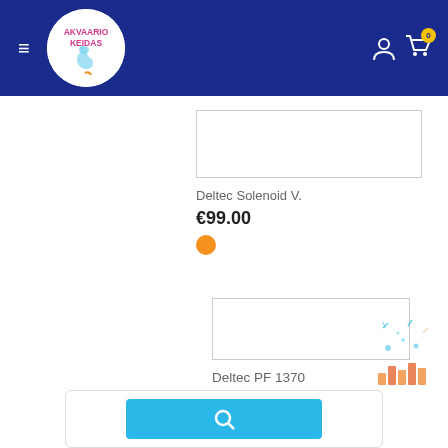[Figure (logo): Akvaario Keidas logo with seahorse in white circle on dark blue header background]
Akvaario Keidas navigation header with hamburger menu, logo, user icon, and cart with 0 items
[Figure (screenshot): Empty product image placeholder box for Deltec Solenoid V.]
Deltec Solenoid V.
€99.00
[Figure (screenshot): Empty product image placeholder box for Deltec PF 1370]
Deltec PF 1370
€1,999.00
[Figure (illustration): Decorative aquarium/birthday illustration in bottom right corner]
[Figure (screenshot): Bottom card with blue search button partially visible]